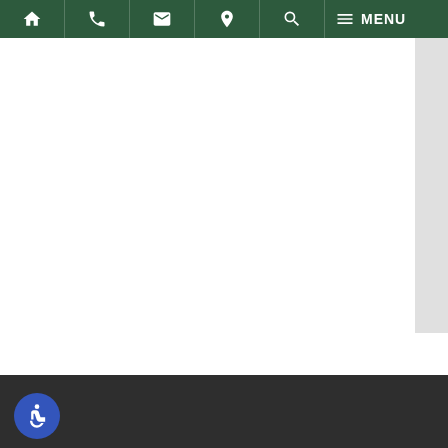Navigation bar with icons: home, phone, email, location, search, menu
[Figure (screenshot): Main content area — white blank page body with vertical scrollbar on the right side]
Footer bar with accessibility (wheelchair) icon